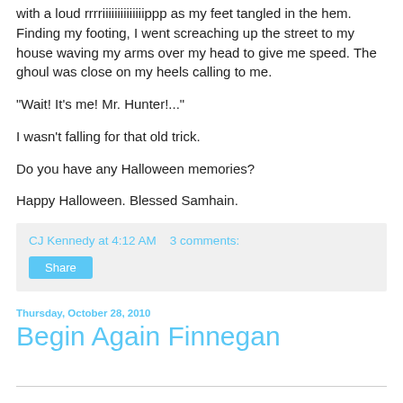with a loud rrrriiiiiiiiiiiiiippp as my feet tangled in the hem. Finding my footing, I went screaching up the street to my house waving my arms over my head to give me speed. The ghoul was close on my heels calling to me.

"Wait! It's me! Mr. Hunter!..."

I wasn't falling for that old trick.

Do you have any Halloween memories?

Happy Halloween. Blessed Samhain.
CJ Kennedy at 4:12 AM   3 comments:
Share
Thursday, October 28, 2010
Begin Again Finnegan